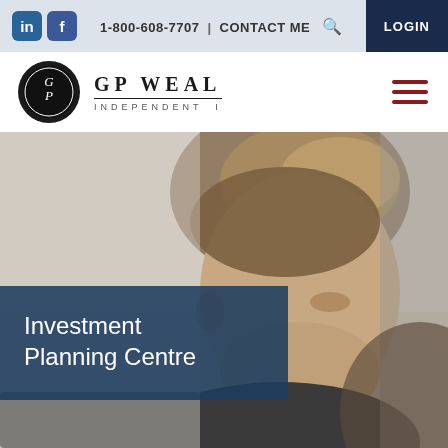1-800-608-7707 | CONTACT ME | LOGIN
[Figure (logo): GP Weal Independent logo with circular emblem and text]
[Figure (photo): Close-up profile photo of a man with light brown hair, looking to the right, in a casual setting]
Investment Planning Centre